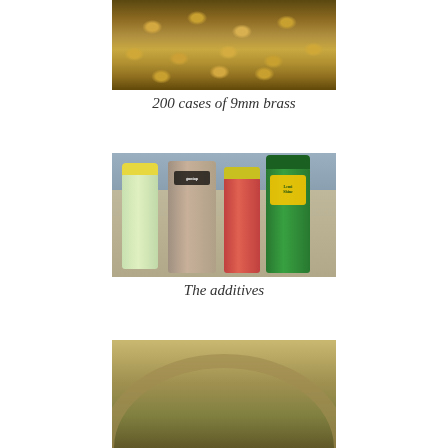[Figure (photo): Top portion of a jar filled with approximately 200 9mm brass bullet casings viewed from above]
200 cases of 9mm brass
[Figure (photo): Four product bottles on a table: Palmolive dish soap, Gunpap stainless steel tumbling media, a jar of nuts/seeds, and Lemi Shine booster — the additives for brass tumbling]
The additives
[Figure (photo): Partial bottom view of what appears to be a glass jar or tumbler from above, showing the interior with brass cases and liquid]